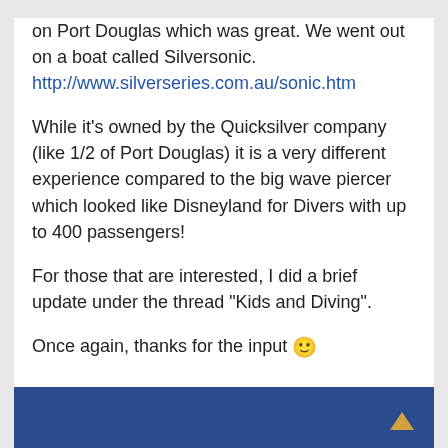on Port Douglas which was great. We went out on a boat called Silversonic.
http://www.silverseries.com.au/sonic.htm

While it's owned by the Quicksilver company (like 1/2 of Port Douglas) it is a very different experience compared to the big wave piercer which looked like Disneyland for Divers with up to 400 passengers!

For those that are interested, I did a brief update under the thread "Kids and Diving".

Once again, thanks for the input 🙂
JigKid 15 Oct 2008 at 6:52pm
😀 Likes(0)  Quote  Reply
My mate and his family went last year and both dived and snorkelled. His two young sons also newly qualified dived and had an awesome time! Could find out more if you wanted...? 😉